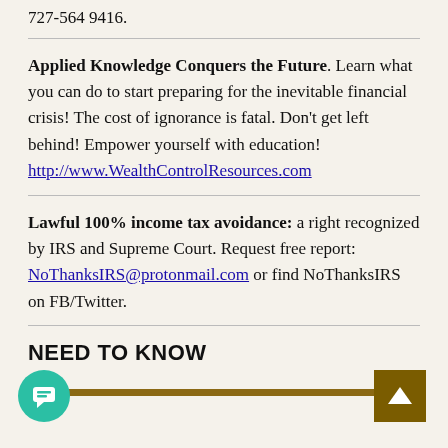727-564 9416.
Applied Knowledge Conquers the Future. Learn what you can do to start preparing for the inevitable financial crisis! The cost of ignorance is fatal. Don't get left behind! Empower yourself with education! http://www.WealthControlResources.com
Lawful 100% income tax avoidance: a right recognized by IRS and Supreme Court. Request free report: NoThanksIRS@protonmail.com or find NoThanksIRS on FB/Twitter.
NEED TO KNOW